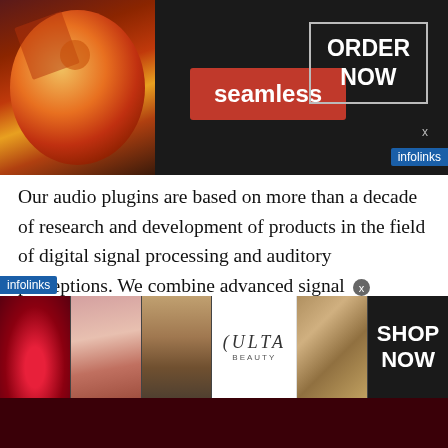[Figure (screenshot): Seamless food delivery ad banner with pizza image, red 'seamless' button, and 'ORDER NOW' white text in bordered box on dark background]
Our audio plugins are based on more than a decade of research and development of products in the field of digital signal processing and auditory perceptions. We combine advanced signal processing and highly optimized cross-platform implementations with easy-to-use interfaces to optimize your workflow.
We strive for both accessibility and quality, and not compromise. We present professional-grade products to a wide range of users.
[Figure (screenshot): Ulta Beauty cosmetics advertisement banner with images of lips, makeup brush, eyes, Ulta logo, and 'SHOP NOW' text]